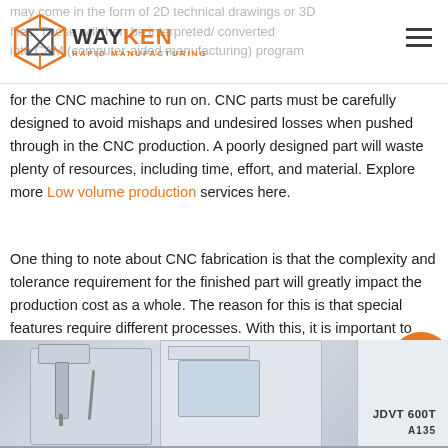WAYKEN RAPID MANUFACTURING
may come in the form of 2D technical drawings or 3D files. These will then be interpreted/ converted into CAM (computer-aided manufacturing) programs for the CNC machine to run on. CNC parts must be carefully designed to avoid mishaps and undesired losses when pushed through in the CNC production. A poorly designed part will waste plenty of resources, including time, effort, and material. Explore more Low volume production services here.
One thing to note about CNC fabrication is that the complexity and tolerance requirement for the finished part will greatly impact the production cost as a whole. The reason for this is that special features require different processes. With this, it is important to consider the constraints and complexity in designing for machining parts.
[Figure (photo): CNC machine on factory floor, showing a large white CNC machining center with label JDVT 600T on the front panel]